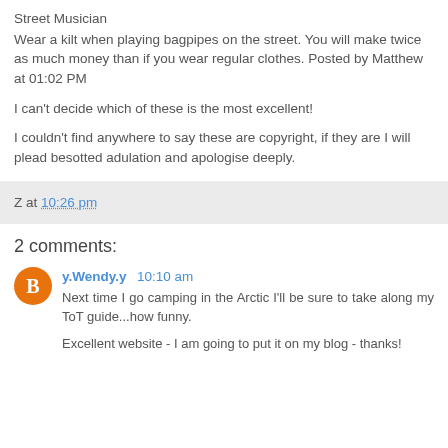Street Musician
Wear a kilt when playing bagpipes on the street. You will make twice as much money than if you wear regular clothes. Posted by Matthew at 01:02 PM
I can't decide which of these is the most excellent!
I couldn't find anywhere to say these are copyright, if they are I will plead besotted adulation and apologise deeply.
Z at 10:26 pm
2 comments:
y.Wendy.y 10:10 am
Next time I go camping in the Arctic I'll be sure to take along my ToT guide...how funny.

Excellent website - I am going to put it on my blog - thanks!